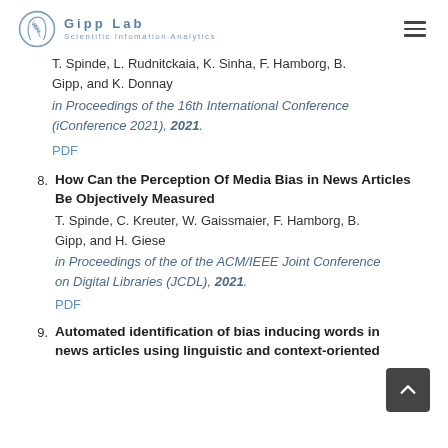Gipp Lab Scientific Information Analytics
T. Spinde, L. Rudnitckaia, K. Sinha, F. Hamborg, B. Gipp, and K. Donnay
in Proceedings of the 16th International Conference (iConference 2021), 2021.
PDF
8. How Can the Perception Of Media Bias in News Articles Be Objectively Measured
T. Spinde, C. Kreuter, W. Gaissmaier, F. Hamborg, B. Gipp, and H. Giese
in Proceedings of the of the ACM/IEEE Joint Conference on Digital Libraries (JCDL), 2021.
PDF
9. Automated identification of bias inducing words in news articles using linguistic and context-oriented